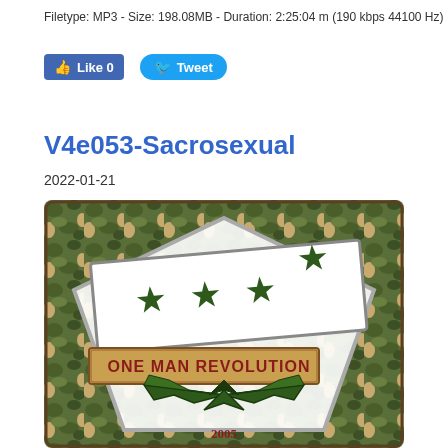Filetype: MP3 - Size: 198.08MB - Duration: 2:25:04 m (190 kbps 44100 Hz)
[Figure (screenshot): Social media buttons: Facebook Like (0) and Twitter Tweet buttons]
V4e053-Sacrosexual
2022-01-21
[Figure (illustration): Album art for 'One Man Revolution 2005' - military/camouflage themed artwork with stars, wings emblem, and text 'ONE MAN REVOLUTION' and '2005' on a camouflage background]